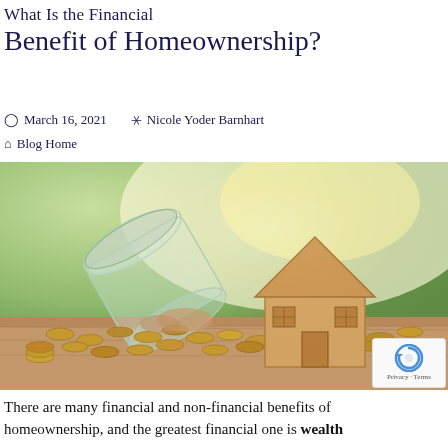What Is the Financial Benefit of Homeownership?
March 16, 2021   Nicole Yoder Barnhart
Blog Home
[Figure (photo): A wooden toy house model surrounded by scattered coins spilling from an overturned glass jar, set on a wooden surface with a blurred green and bright background.]
There are many financial and non-financial benefits of homeownership, and the greatest financial one is wealth